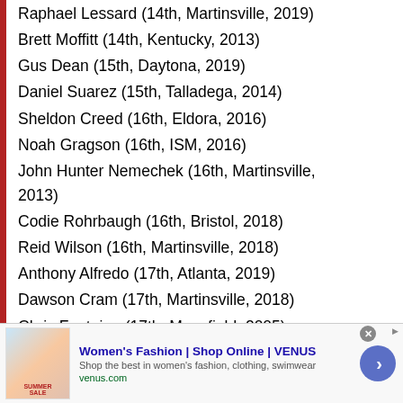Raphael Lessard (14th, Martinsville, 2019)
Brett Moffitt (14th, Kentucky, 2013)
Gus Dean (15th, Daytona, 2019)
Daniel Suarez (15th, Talladega, 2014)
Sheldon Creed (16th, Eldora, 2016)
Noah Gragson (16th, ISM, 2016)
John Hunter Nemechek (16th, Martinsville, 2013)
Codie Rohrbaugh (16th, Bristol, 2018)
Reid Wilson (16th, Martinsville, 2018)
Anthony Alfredo (17th, Atlanta, 2019)
Dawson Cram (17th, Martinsville, 2018)
Chris Fontaine (17th, Mansfield, 2005)
DJ Kennington (17th, Martinsville, 2010)
Corey Lajoie (17th, Kentucky, 2014)
[Figure (other): Advertisement banner for Women's Fashion at VENUS online shop]